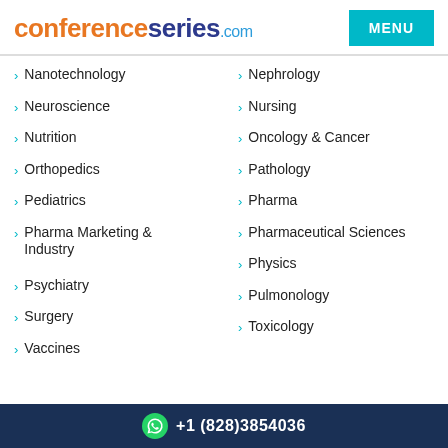conferenceseries.com
Nanotechnology
Nephrology
Neuroscience
Nursing
Nutrition
Oncology & Cancer
Orthopedics
Pathology
Pediatrics
Pharma
Pharma Marketing & Industry
Pharmaceutical Sciences
Physics
Psychiatry
Pulmonology
Surgery
Toxicology
Vaccines
+1 (828)3854036